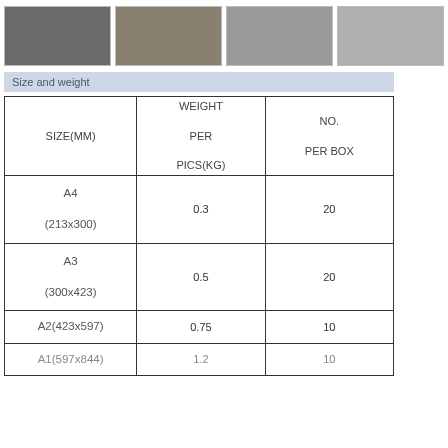[Figure (photo): Four product photos showing frames/holders in different configurations]
Size and weight
| SIZE(MM) | WEIGHT PER PICS(KG) | NO. PER BOX |
| --- | --- | --- |
| A4
(213x300) | 0.3 | 20 |
| A3
(300x423) | 0.5 | 20 |
| A2(423x597) | 0.75 | 10 |
| A1(597x844) | 1.2 | 10 |